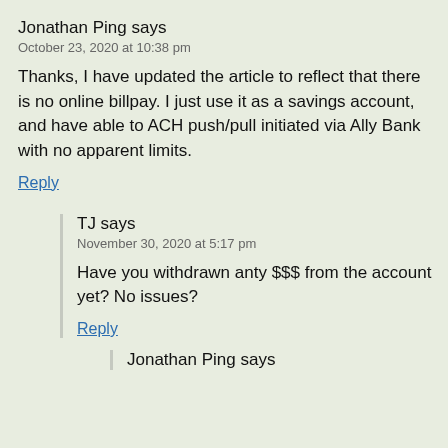Jonathan Ping says
October 23, 2020 at 10:38 pm
Thanks, I have updated the article to reflect that there is no online billpay. I just use it as a savings account, and have able to ACH push/pull initiated via Ally Bank with no apparent limits.
Reply
TJ says
November 30, 2020 at 5:17 pm
Have you withdrawn anty $$$ from the account yet? No issues?
Reply
Jonathan Ping says